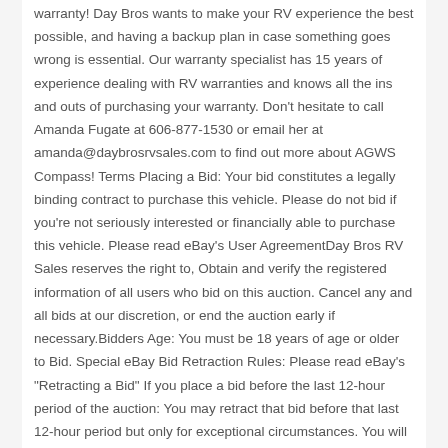warranty! Day Bros wants to make your RV experience the best possible, and having a backup plan in case something goes wrong is essential. Our warranty specialist has 15 years of experience dealing with RV warranties and knows all the ins and outs of purchasing your warranty. Don't hesitate to call Amanda Fugate at 606-877-1530 or email her at amanda@daybrosrvsales.com to find out more about AGWS Compass! Terms Placing a Bid: Your bid constitutes a legally binding contract to purchase this vehicle. Please do not bid if you're not seriously interested or financially able to purchase this vehicle. Please read eBay's User AgreementDay Bros RV Sales reserves the right to, Obtain and verify the registered information of all users who bid on this auction. Cancel any and all bids at our discretion, or end the auction early if necessary.Bidders Age: You must be 18 years of age or older to Bid. Special eBay Bid Retraction Rules: Please read eBay's "Retracting a Bid" If you place a bid before the last 12-hour period of the auction: You may retract that bid before that last 12-hour period but only for exceptional circumstances. You will not be allowed to retract that bid during the last 12-hour period of the auction. If you place a bid during the last 12 hours...